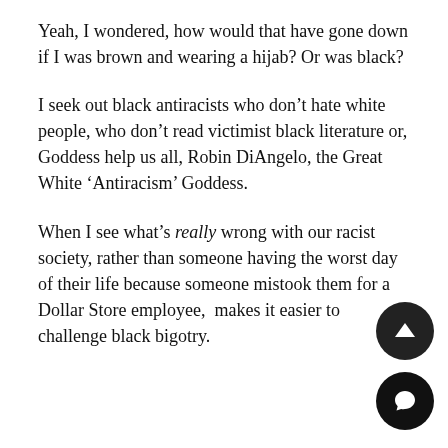Yeah, I wondered, how would that have gone down if I was brown and wearing a hijab? Or was black?
I seek out black antiracists who don't hate white people, who don't read victimist black literature or, Goddess help us all, Robin DiAngelo, the Great White ‘Antiracism’ Goddess.
When I see what’s really wrong with our racist society, rather than someone having the worst day of their life because someone mistook them for a Dollar Store employee, makes it easier to challenge black bigotry.